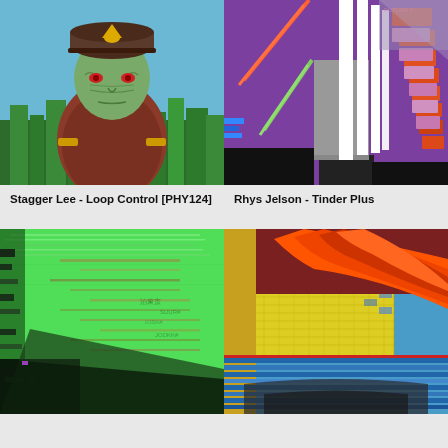[Figure (illustration): Comic-style illustration of a stern military figure wearing a cap with yellow insignia, red eyes, brown/red coat, against a blue sky with a green city skyline below. Halftone/screen-print aesthetic.]
[Figure (illustration): Abstract digital/glitch art with vertical white bars, orange rectangular blocks arranged in staircase pattern, diagonal colored lines (orange, green), black areas at bottom, purple background.]
Stagger Lee - Loop Control [PHY124]
Rhys Jelson - Tinder Plus
[Figure (illustration): Green-toned glitch art with digital corruption artifacts, dark building silhouette at bottom left, textured green landscape with Japanese/Asian text fragments visible.]
[Figure (illustration): Collage artwork with large red/orange flame or flag sweeping across upper right, mosaic/tiled patterns in yellow-green, horizontal blue metallic stripes at bottom, dark arch or tunnel visible.]